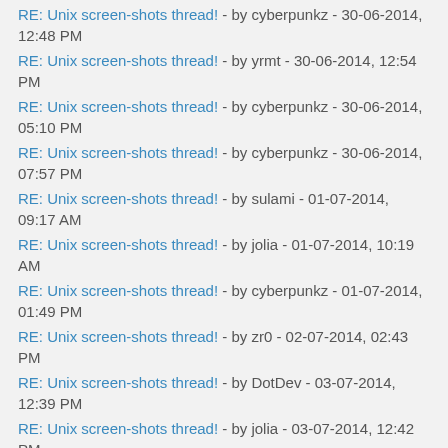RE: Unix screen-shots thread! - by cyberpunkz - 30-06-2014, 12:48 PM
RE: Unix screen-shots thread! - by yrmt - 30-06-2014, 12:54 PM
RE: Unix screen-shots thread! - by cyberpunkz - 30-06-2014, 05:10 PM
RE: Unix screen-shots thread! - by cyberpunkz - 30-06-2014, 07:57 PM
RE: Unix screen-shots thread! - by sulami - 01-07-2014, 09:17 AM
RE: Unix screen-shots thread! - by jolia - 01-07-2014, 10:19 AM
RE: Unix screen-shots thread! - by cyberpunkz - 01-07-2014, 01:49 PM
RE: Unix screen-shots thread! - by zr0 - 02-07-2014, 02:43 PM
RE: Unix screen-shots thread! - by DotDev - 03-07-2014, 12:39 PM
RE: Unix screen-shots thread! - by jolia - 03-07-2014, 12:42 PM
RE: Unix screen-shots thread! - by cyberpunkz - 09-07-2014, 03:45 PM
RE: Unix screen-shots thread! - by rudylorren - 09-07-2014,